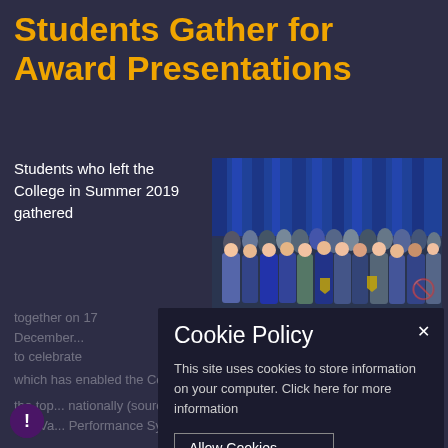Students Gather for Award Presentations
Students who left the College in Summer 2019 gathered
[Figure (photo): Group photo of students gathered for award presentations, standing in rows in front of a blue curtain backdrop, some holding shields/trophies.]
together on 17 December... to celebrate
Cookie Policy

This site uses cookies to store information on your computer. Click here for more information
Allow Cookies
Deny Cookies
which has enabled the College to be included
the top... nationally (source: ALPS
and Value Performance System).